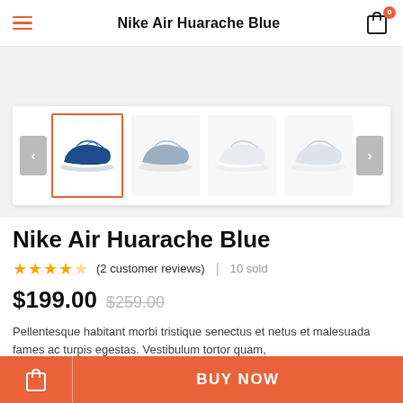Nike Air Huarache Blue
[Figure (photo): Product image carousel showing 4 Nike Air Huarache sneakers: first (active/selected) is navy blue, second is light grey/blue, third is white, fourth is white/light grey. Navigation arrows on left and right.]
Nike Air Huarache Blue
★★★★½ (2 customer reviews) | 10 sold
$199.00 $259.00
Pellentesque habitant morbi tristique senectus et netus et malesuada fames ac turpis egestas. Vestibulum tortor quam,